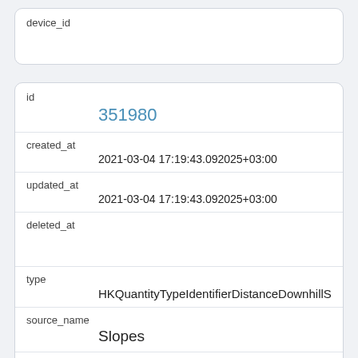| field | value |
| --- | --- |
| device_id |  |
| field | value |
| --- | --- |
| id | 351980 |
| created_at | 2021-03-04 17:19:43.092025+03:00 |
| updated_at | 2021-03-04 17:19:43.092025+03:00 |
| deleted_at |  |
| type | HKQuantityTypeIdentifierDistanceDownhillSnowSpo... |
| source_name | Slopes |
| source_version | 3575 |
| unit | km |
| creation_date | 2019-03-06 11:41:03+03:00 |